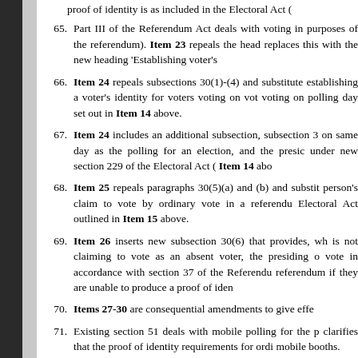65. Part III of the Referendum Act deals with voting in purposes of the referendum). Item 23 repeals the head replaces this with the new heading 'Establishing voter's
66. Item 24 repeals subsections 30(1)-(4) and substitute establishing a voter's identity for voters voting on vot voting on polling day set out in Item 14 above.
67. Item 24 includes an additional subsection, subsection 3 on same day as the polling for an election, and the presid under new section 229 of the Electoral Act ( Item 14 abo
68. Item 25 repeals paragraphs 30(5)(a) and (b) and substit person's claim to vote by ordinary vote in a referend Electoral Act outlined in Item 15 above.
69. Item 26 inserts new subsection 30(6) that provides, wh is not claiming to vote as an absent voter, the presiding o vote in accordance with section 37 of the Referendu referendum if they are unable to produce a proof of iden
70. Items 27-30 are consequential amendments to give effe
71. Existing section 51 deals with mobile polling for the p clarifies that the proof of identity requirements for ordi mobile booths.